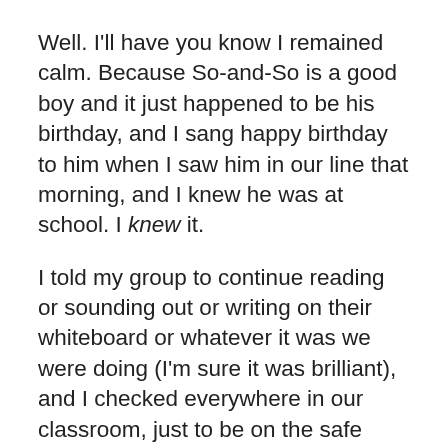Well. I'll have you know I remained calm. Because So-and-So is a good boy and it just happened to be his birthday, and I sang happy birthday to him when I saw him in our line that morning, and I knew he was at school. I knew it.
I told my group to continue reading or sounding out or writing on their whiteboard or whatever it was we were doing (I'm sure it was brilliant), and I checked everywhere in our classroom, just to be on the safe side. Our classroom isn't that big, but maybe he found a secret hiding spot that I didn't know about.
But So-and-So wasn't in our room.
So then I looked outside. I mean, maybe he was just loitering. It was a nice day. It's easy to loiter on a nice day. I do it from time to time. Every now and again.
But nope. Not outside. I sent a boy to check the boy's